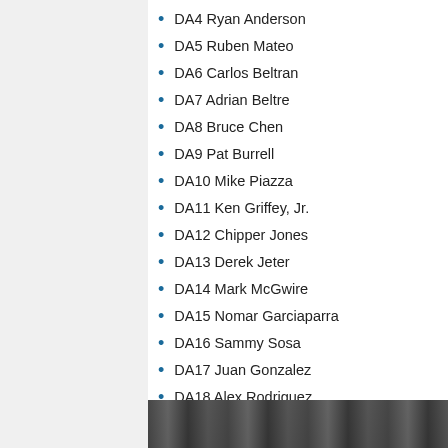DA4 Ryan Anderson
DA5 Ruben Mateo
DA6 Carlos Beltran
DA7 Adrian Beltre
DA8 Bruce Chen
DA9 Pat Burrell
DA10 Mike Piazza
DA11 Ken Griffey, Jr.
DA12 Chipper Jones
DA13 Derek Jeter
DA14 Mark McGwire
DA15 Nomar Garciaparra
DA16 Sammy Sosa
DA17 Juan Gonzalez
DA18 Alex Rodriguez
Impact
[Figure (photo): Partial view of a photograph, showing a dark scene, visible at the bottom of the page.]